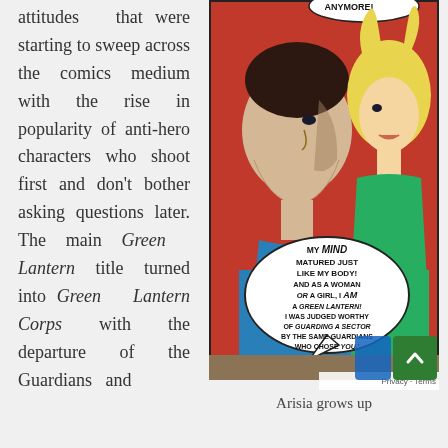attitudes that were starting to sweep across the comics medium with the rise in popularity of anti-hero characters who shoot first and don't bother asking questions later. The main Green Lantern title turned into Green Lantern Corps with the departure of the Guardians and
[Figure (illustration): Comic book panel showing two characters facing each other: a dark-haired male and a blonde female. A speech bubble reads: 'MY MIND MATURED JUST LIKE MY BODY! AND AS A WOMAN OR A GIRL, I AM A GREEN LANTERN! I WAS JUDGED WORTHY OF GUARDING A SECTOR BY THE SAME GUARDIANS WHO CHOSE YOU!']
Arisia grows up